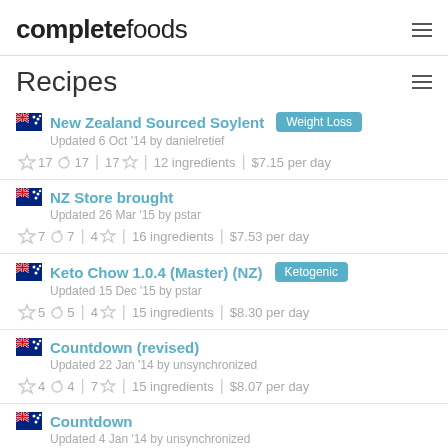completefoods
Recipes
New Zealand Sourced Soylent | Weight Loss | Updated 6 Oct '14 by danielretief | 17 comments | 17 stars | 12 ingredients | $7.15 per day
NZ Store brought | Updated 26 Mar '15 by pstar | 7 comments | 4 stars | 16 ingredients | $7.53 per day
Keto Chow 1.0.4 (Master) (NZ) | Ketogenic | Updated 15 Dec '15 by pstar | 5 comments | 4 stars | 15 ingredients | $8.30 per day
Countdown (revised) | Updated 22 Jan '14 by unsynchronized | 4 comments | 7 stars | 15 ingredients | $8.07 per day
Countdown | Updated 4 Jan '14 by unsynchronized | 4 comments | 4 stars | 17 ingredients | $8.17 per day